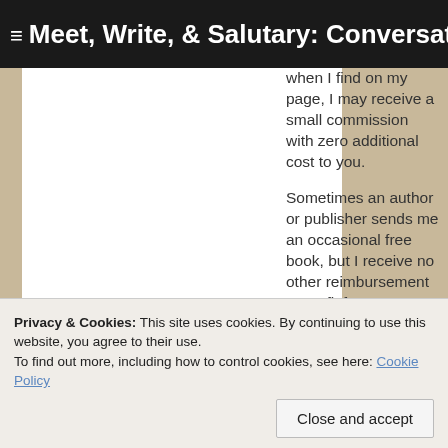Meet, Write, & Salutary: Conversation & Community for
when I find on my page, I may receive a small commission with zero additional cost to you.
Sometimes an author or publisher sends me an occasional free book, but I receive no other reimbursement or profit from endorsing or
Privacy & Cookies: This site uses cookies. By continuing to use this website, you agree to their use.
To find out more, including how to control cookies, see here: Cookie Policy
Close and accept
Living